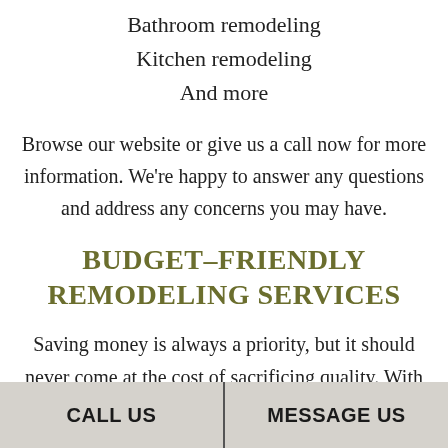Bathroom remodeling
Kitchen remodeling
And more
Browse our website or give us a call now for more information. We're happy to answer any questions and address any concerns you may have.
BUDGET-FRIENDLY REMODELING SERVICES
Saving money is always a priority, but it should never come at the cost of sacrificing quality. With us, you can have the best of both worlds with our
CALL US    MESSAGE US